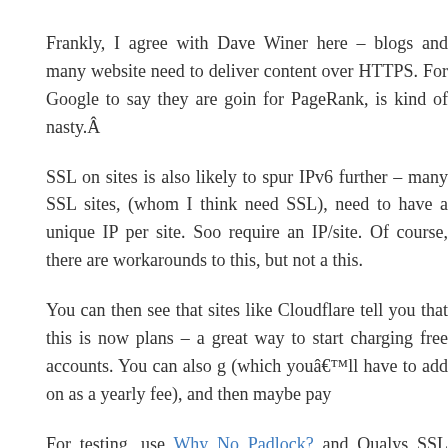Frankly, I agree with Dave Winer here – blogs and many websites need to deliver content over HTTPS. For Google to say they are going to use it for PageRank, is kind of nasty.Â
SSL on sites is also likely to spur IPv6 further – many SSL sites, (whom I think need SSL), need to have a unique IP per site. Soo... require an IP/site. Of course, there are workarounds to this, but not all support this.
You can then see that sites like Cloudflare tell you that this is now only in paid plans – a great way to start charging free accounts. You can also get a certificate (which youâ€™ll have to add on as a yearly fee), and then maybe pay...
For testing, use Why No Padlock? and Qualys SSL Labs SSL Server...